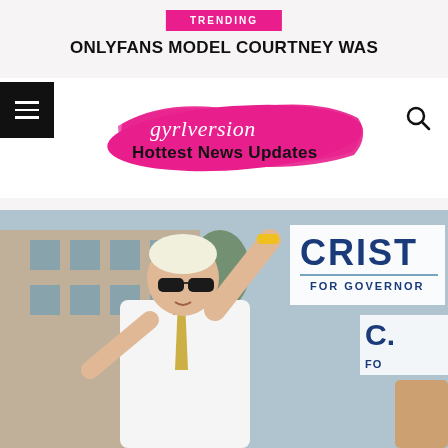TRENDING
ONLYFANS MODEL COURTNEY WAS
[Figure (logo): Gyrlversion Hottest News Updates logo — pink brushstroke background with script and bold text]
[Figure (photo): A man with blond/white hair and sunglasses wearing a white shirt and patterned tie, raising his arm with a yellow wristband, in front of campaign signs reading CRIST FOR GOVERNOR]